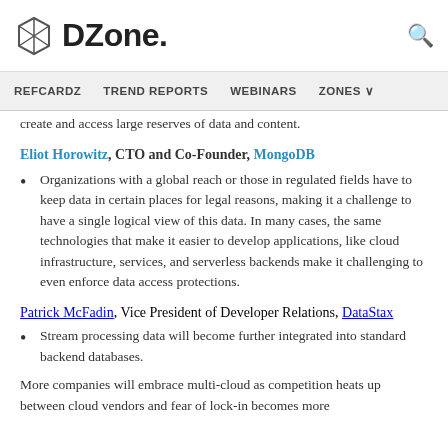DZone. [search icon]
REFCARDZ  TREND REPORTS  WEBINARS  ZONES
create and access large reserves of data and content.
Eliot Horowitz, CTO and Co-Founder, MongoDB
Organizations with a global reach or those in regulated fields have to keep data in certain places for legal reasons, making it a challenge to have a single logical view of this data. In many cases, the same technologies that make it easier to develop applications, like cloud infrastructure, services, and serverless backends make it challenging to even enforce data access protections.
Patrick McFadin, Vice President of Developer Relations, DataStax
Stream processing data will become further integrated into standard backend databases.
More companies will embrace multi-cloud as competition heats up between cloud vendors and fear of lock-in becomes more...